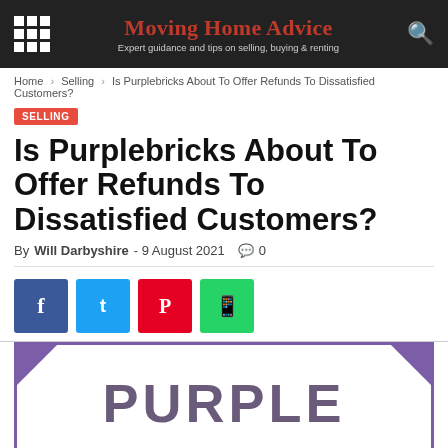Moving Home Advice — Expert guidance and tips on selling, buying & renting
Home › Selling › Is Purplebricks About To Offer Refunds To Dissatisfied Customers?
SELLING
Is Purplebricks About To Offer Refunds To Dissatisfied Customers?
By Will Darbyshire - 9 August 2021  0
[Figure (logo): Purplebricks logo showing the word PURPLE in large bold dark purple letters on white background with purple border frame and purple corner decorations]
PURPLE